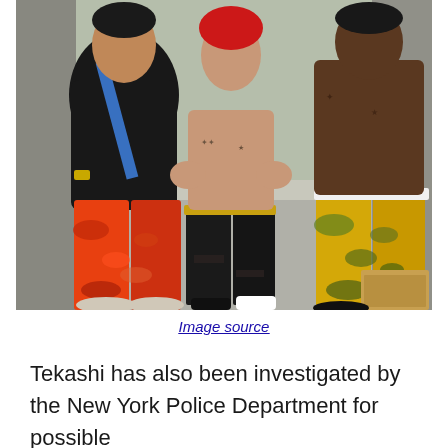[Figure (photo): Three young men posing on a sidewalk. Left person wears a black hoodie with blue bag and orange/red camouflage pants. Center person has red hair, shirtless with tattoos, wearing black ripped jeans and a gold chain belt. Right person is shirtless with tattoos wearing yellow/green camouflage pants.]
Image source
Tekashi has also been investigated by the New York Police Department for possible